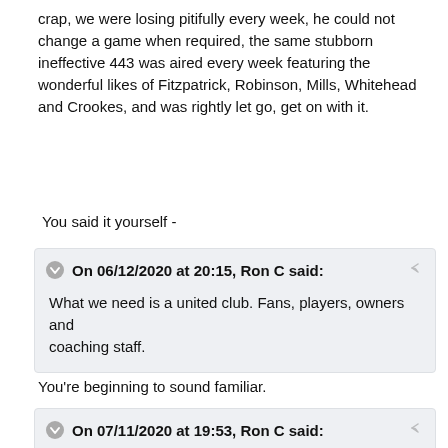crap, we were losing pitifully every week, he could not change a game when required, the same stubborn ineffective 443 was aired every week featuring the wonderful likes of Fitzpatrick, Robinson, Mills, Whitehead and Crookes, and was rightly let go, get on with it.
You said it yourself -
On 06/12/2020 at 20:15, Ron C said:
What we need is a united club. Fans, players, owners and coaching staff.
You're beginning to sound familiar.
On 07/11/2020 at 19:53, Ron C said:
Not played much football, have you?